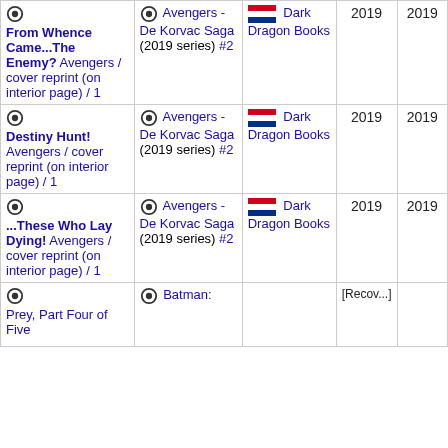| Story | Issue | Publisher | Year | Year |
| --- | --- | --- | --- | --- |
| From Whence Came...The Enemy? Avengers / cover reprint (on interior page) / 1 | Avengers - De Korvac Saga (2019 series) #2 | Dark Dragon Books | 2019 | 2019 |
| Destiny Hunt! Avengers / cover reprint (on interior page) / 1 | Avengers - De Korvac Saga (2019 series) #2 | Dark Dragon Books | 2019 | 2019 |
| ...These Who Lay Dying! Avengers / cover reprint (on interior page) / 1 | Avengers - De Korvac Saga (2019 series) #2 | Dark Dragon Books | 2019 | 2019 |
| Prey, Part Four of Five | Batman: |  | [truncated] |  |